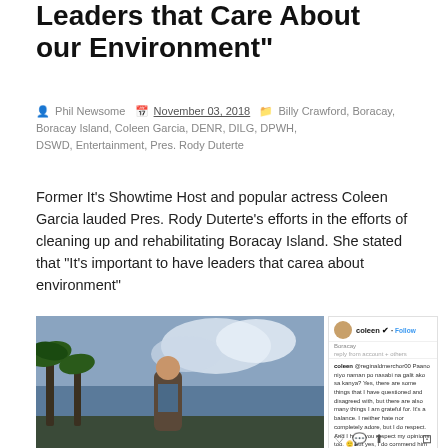Leaders that Care About our Environment"
Phil Newsome  November 03, 2018  Billy Crawford, Boracay, Boracay Island, Coleen Garcia, DENR, DILG, DPWH, DSWD, Entertainment, Pres. Rody Duterte
Former It's Showtime Host and popular actress Coleen Garcia lauded Pres. Rody Duterte's efforts in the efforts of cleaning up and rehabilitating Boracay Island. She stated that "It's important to have leaders that carea about environment"
[Figure (photo): Photo of Coleen Garcia standing outdoors with palm trees and cloudy sky in the background]
[Figure (screenshot): Instagram post screenshot from user 'coleen' located at Boracay, with a comment reading: '@reginaldmerchor00 Paano niyo naman po nasabi na galit ako sa kanya? Yes, there are some things that I have questioned and disagreed with, but there are also many things I am grateful for. It's a balance. I neither hate nor completely adore, but I do respect. And I hope you respect my opinions, too. But yes, I do commend him for what he has done for Boracay. It's important to have leaders that care about our environment, because sadly not everyone does.']